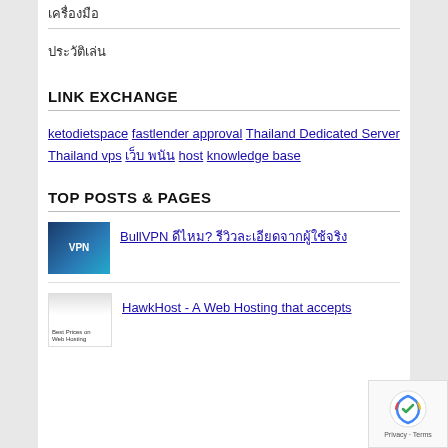เครื่องมือ
ประวัติเล่น
LINK EXCHANGE
ketodietspace fastlender approval Thailand Dedicated Server Thailand vps เว็บ พนัน host knowledge base
TOP POSTS & PAGES
BullVPN ดีไหม? รีวิวละเอียดจากผู้ใช้จริง
HawkHost - A Web Hosting that accepts